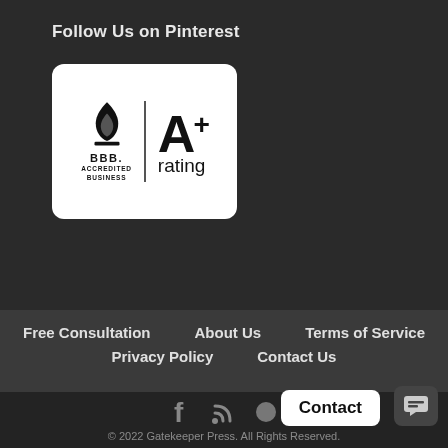Follow Us on Pinterest
[Figure (logo): BBB Accredited Business A+ rating badge — white rounded rectangle with BBB flame logo on the left, 'BBB.' text and 'ACCREDITED BUSINESS' below it, a vertical divider, and 'A+' large text with 'rating' below on the right]
Free Consultation
About Us
Terms of Service
Privacy Policy
Contact Us
© 2022 Gatekeeper Press. All Rights Reserved.